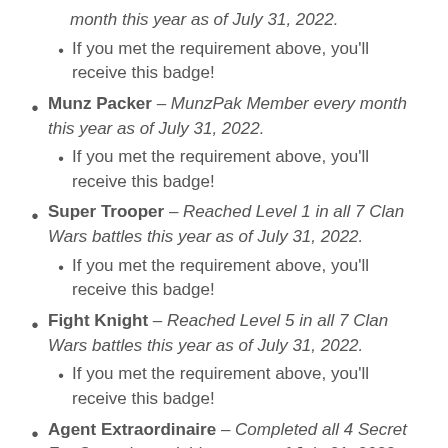(continued from above) month this year as of July 31, 2022.
If you met the requirement above, you'll receive this badge!
Munz Packer – MunzPak Member every month this year as of July 31, 2022.
If you met the requirement above, you'll receive this badge!
Super Trooper – Reached Level 1 in all 7 Clan Wars battles this year as of July 31, 2022.
If you met the requirement above, you'll receive this badge!
Fight Knight – Reached Level 5 in all 7 Clan Wars battles this year as of July 31, 2022.
If you met the requirement above, you'll receive this badge!
Agent Extraordinaire – Completed all 4 Secret ZeeOps released this year as of July 31, 2022.
If you met the requirement above, you'll